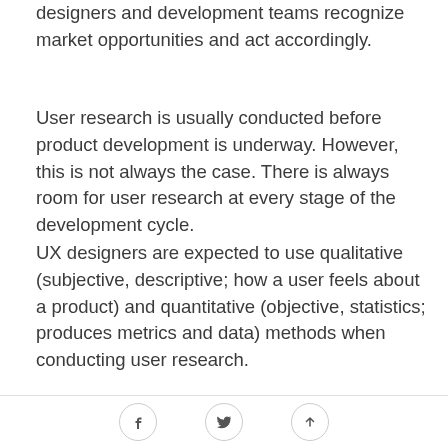designers and development teams recognize market opportunities and act accordingly.
User research is usually conducted before product development is underway. However, this is not always the case. There is always room for user research at every stage of the development cycle.
UX designers are expected to use qualitative (subjective, descriptive; how a user feels about a product) and quantitative (objective, statistics; produces metrics and data) methods when conducting user research.
These methods will typically include user surveys,
social share icons: Facebook, Twitter, scroll-to-top